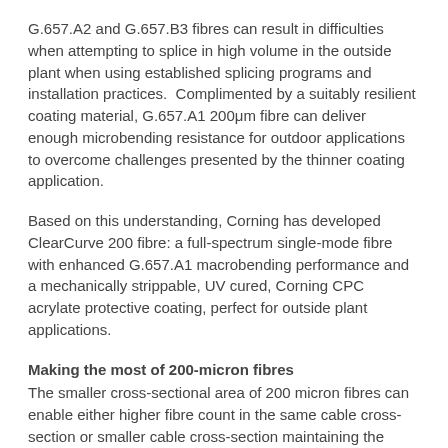G.657.A2 and G.657.B3 fibres can result in difficulties when attempting to splice in high volume in the outside plant when using established splicing programs and installation practices.  Complimented by a suitably resilient coating material, G.657.A1 200μm fibre can deliver enough microbending resistance for outdoor applications to overcome challenges presented by the thinner coating application.
Based on this understanding, Corning has developed ClearCurve 200 fibre: a full-spectrum single-mode fibre with enhanced G.657.A1 macrobending performance and a mechanically strippable, UV cured, Corning CPC acrylate protective coating, perfect for outside plant applications.
Making the most of 200-micron fibres
The smaller cross-sectional area of 200 micron fibres can enable either higher fibre count in the same cable cross-section or smaller cable cross-section maintaining the same fibre in a lighter package, both delivering practical benefits for operators: